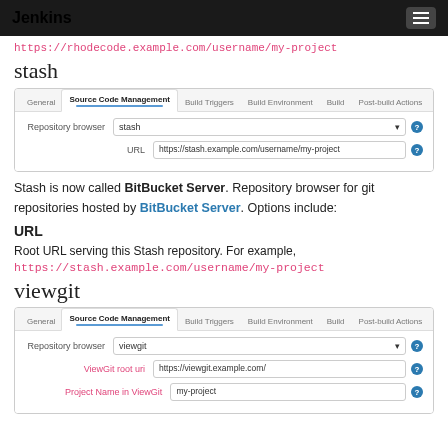Jenkins
https://rhodecode.example.com/username/my-project
stash
[Figure (screenshot): Jenkins Source Code Management tab screenshot showing Repository browser set to 'stash' and URL field with https://stash.example.com/username/my-project]
Stash is now called BitBucket Server. Repository browser for git repositories hosted by BitBucket Server. Options include:
URL
Root URL serving this Stash repository. For example,
https://stash.example.com/username/my-project
viewgit
[Figure (screenshot): Jenkins Source Code Management tab screenshot showing Repository browser set to 'viewgit' with ViewGit root url field showing https://viewgit.example.com/ and Project Name in ViewGit field showing my-project]